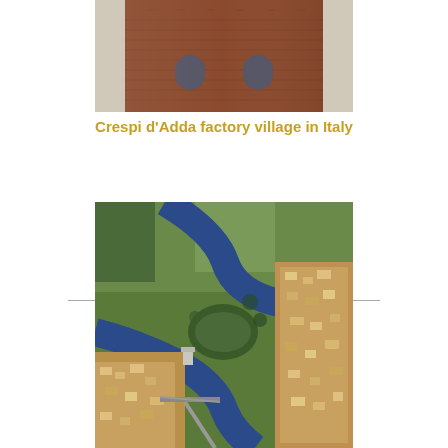[Figure (photo): Partial view of a historic brick building or church tower, likely in Crespi d'Adda, Italy]
Crespi d'Adda factory village in Italy
[Figure (photo): Aerial photograph showing a river winding through a town, with green fields, a bridge, and residential areas on both sides — likely the Adda river near Crespi d'Adda, Italy]